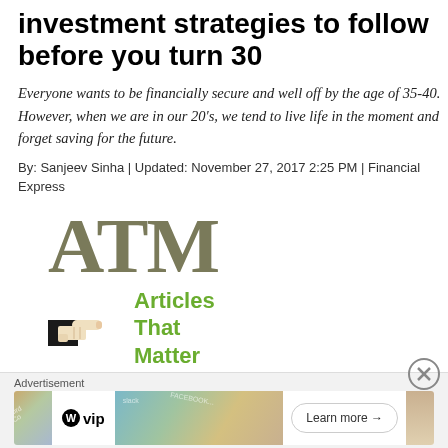investment strategies to follow before you turn 30
Everyone wants to be financially secure and well off by the age of 35-40. However, when we are in our 20's, we tend to live life in the moment and forget saving for the future.
By: Sanjeev Sinha | Updated: November 27, 2017 2:25 PM | Financial Express
[Figure (logo): ATM (Articles That Matter) logo — large grey-olive serif letters 'ATM' above a hand-pointing icon with green bold text 'Articles That Matter']
Advertisement
[Figure (screenshot): Advertisement banner showing WordPress VIP logo on the left, colorful social network card images in the middle, and a 'Learn more →' button on the right]